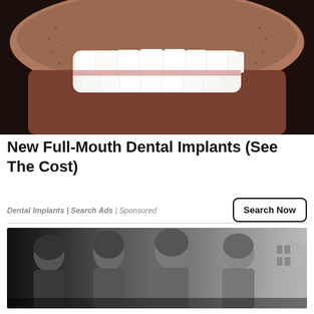[Figure (photo): Close-up photo of a man's smile showing white dental implants/teeth, with stubble visible, dark background]
New Full-Mouth Dental Implants (See The Cost)
Dental Implants | Search Ads | Sponsored
[Figure (photo): Black and white photo of four men (resembling a rock band) standing together outdoors]